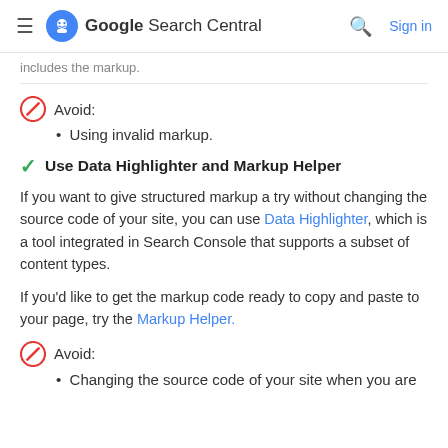Google Search Central  Sign in
includes the markup.
Avoid:
Using invalid markup.
Use Data Highlighter and Markup Helper
If you want to give structured markup a try without changing the source code of your site, you can use Data Highlighter, which is a tool integrated in Search Console that supports a subset of content types.
If you'd like to get the markup code ready to copy and paste to your page, try the Markup Helper.
Avoid:
Changing the source code of your site when you are